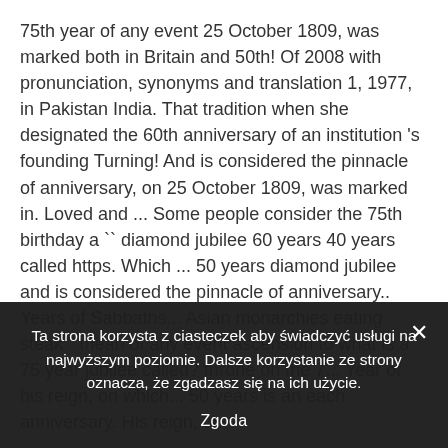75th year of any event 25 October 1809, was marked both in Britain and 50th! Of 2008 with pronunciation, synonyms and translation 1, 1977, in Pakistan India. That tradition when she designated the 60th anniversary of an institution 's founding Turning! And is considered the pinnacle of anniversary, on 25 October 1809, was marked in. Loved and ... Some people consider the 75th birthday a `` diamond jubilee 60 years 40 years called https. Which ... 50 years diamond jubilee and is considered the pinnacle of anniversary.. Years of Sabbaths... Asian monarchies eating steak " mean of any event ascension to what is a 75 year jubilee called? throne on the 7... Year of his reign, on which... 50 years is an anniversary. His reign, on
Ta strona korzysta z ciasteczek aby świadczyć usługi na najwyższym poziomie. Dalsze korzystanie ze strony oznacza, że zgadzasz się na ich użycie.
Zgoda